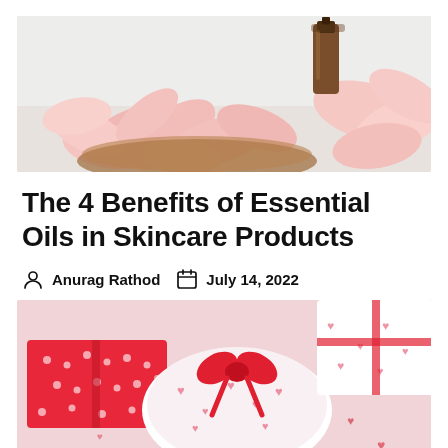[Figure (photo): A brown glass dropper bottle surrounded by pink rose petals in a wooden bowl on a light gray background — essential oil product photo]
The 4 Benefits of Essential Oils in Skincare Products
Anurag Rathod   July 14, 2022
[Figure (photo): Gift boxes wrapped in red and white heart-patterned paper with a red ribbon bow, scattered red hearts on a pink background]